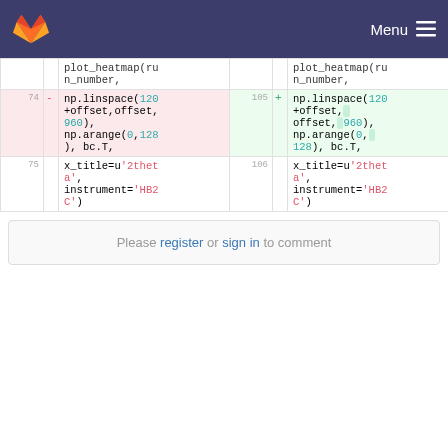GitLab | Menu
| line-del | sign | code-del | line-add | sign | code-add |
| --- | --- | --- | --- | --- | --- |
|  |  | plot_heatmap(ru
n_number, |  |  | plot_heatmap(ru
n_number, |
| 74 | - |  | 105 | + | np.linspace(120
+offset,
offset, 960),
np.arange(0,
128), bc.T, |
|  |  | np.linspace(120
+offset,offset,
960),
np.arange(0,128
), bc.T, |  |  |  |
| 75 |  | x_title=u'2theta',
instrument='HB2
C') | 106 |  | x_title=u'2theta',
instrument='HB2
C') |
Please register or sign in to comment